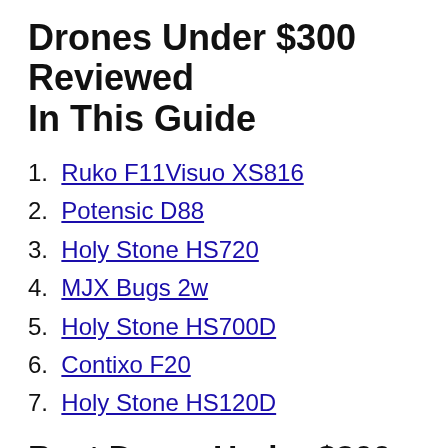Drones Under $300 Reviewed In This Guide
1. Ruko F11Visuo XS816
2. Potensic D88
3. Holy Stone HS720
4. MJX Bugs 2w
5. Holy Stone HS700D
6. Contixo F20
7. Holy Stone HS120D
Best Drone Under $300 List
1. Ruko F11